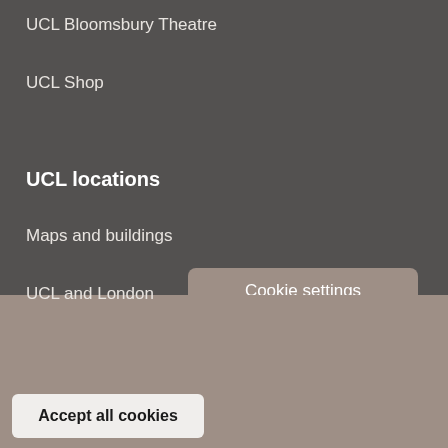UCL Bloomsbury Theatre
UCL Shop
UCL locations
Maps and buildings
UCL and London
UCL Global
UCL East
Cookie settings
Our website uses cookies
Some of these cookies are essential, while others help us to improve your experience of our website. Find out more:
Privacy Policy (opens in new window)
Accept all cookies